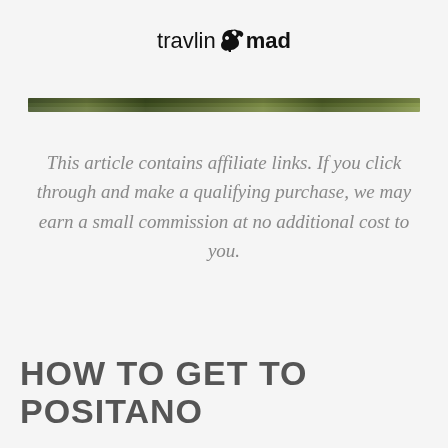travlinmad
[Figure (illustration): Thin horizontal decorative strip with a nature/foliage photo texture, used as a divider below the logo]
This article contains affiliate links. If you click through and make a qualifying purchase, we may earn a small commission at no additional cost to you.
HOW TO GET TO POSITANO